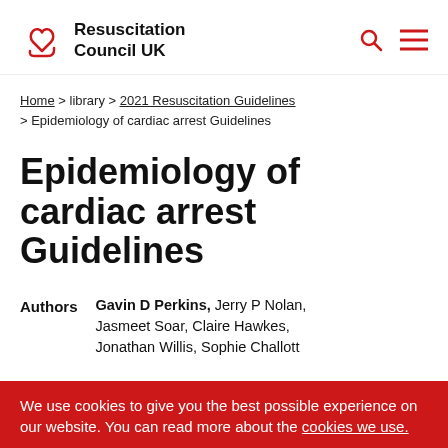Resuscitation Council UK
Home > library > 2021 Resuscitation Guidelines > Epidemiology of cardiac arrest Guidelines
Epidemiology of cardiac arrest Guidelines
Authors   Gavin D Perkins, Jerry P Nolan, Jasmeet Soar, Claire Hawkes, Jonathan Wyllie, Sophie Challott...
We use cookies to give you the best possible experience on our website. You can read more about the cookies we use.